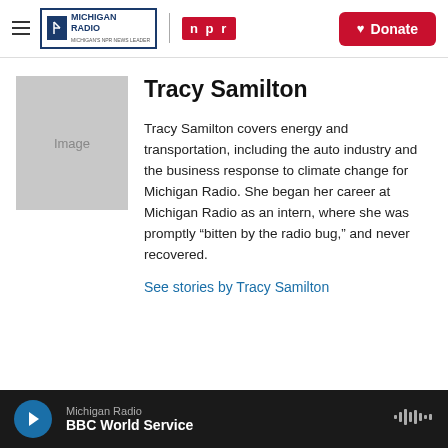Michigan Radio | NPR | Donate
[Figure (photo): Placeholder image box labeled 'Image' representing Tracy Samilton's profile photo]
Tracy Samilton
Tracy Samilton covers energy and transportation, including the auto industry and the business response to climate change for Michigan Radio. She began her career at Michigan Radio as an intern, where she was promptly “bitten by the radio bug,” and never recovered.
See stories by Tracy Samilton
Michigan Radio | BBC World Service